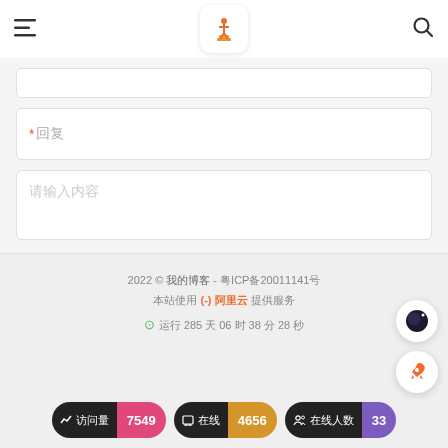☰  [logo]  🔍
* 回复 (input field)
请输入内容 (textarea placeholder)
发布 (submit button)
暂无内容
2022 © 我的博客 - 粤ICP备20011141号 本站使用 阿里云 提供服务 © 运行 285 天 06 时 38 分 28 秒
访问量 7549  在线 4656  在线人数 33